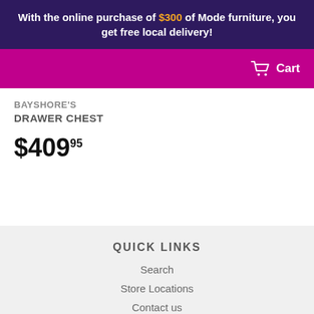With the online purchase of $300 of Mode furniture, you get free local delivery!
Cart
BAYSHORE'S
DRAWER CHEST
$409.95
QUICK LINKS
Search
Store Locations
Contact us
About Us